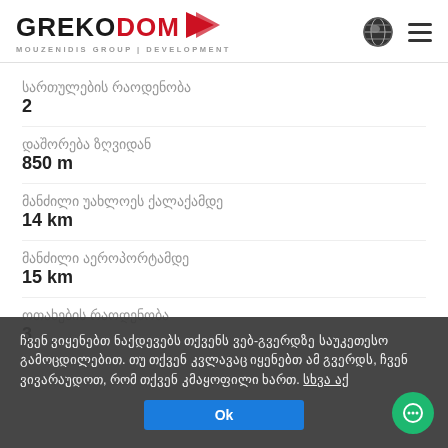GREKODOM MOUZENIDIS GROUP | DEVELOPMENT
სართულების რაოდენობა
2
დაშორება ზღვიდან
850 m
მანძილი უახლოეს ქალაქამდე
14 km
მანძილი აეროპორტამდე
15 km
ოთახების რაოდენობა
3
ჩვენ ვიყენებთ ნაქდევებს თქვენს ვებ-გვერდზე საუკეთესო გამოცდილებით. თუ თქვენ კვლავაც იყენებთ ამ გვერდს, ჩვენ ვივარაუდოთ, რომ თქვენ კმაყოფილი ხართ. სხვა აქ
Ok